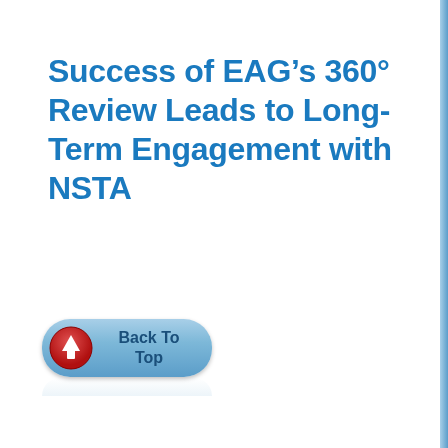Success of EAG’s 360° Review Leads to Long-Term Engagement with NSTA
[Figure (other): A rounded pill-shaped button with blue gradient background. On the left side is a circular icon with red background showing a white upward arrow. The button text reads 'Back To Top' in bold dark blue. Below the button is a faint reflection.]